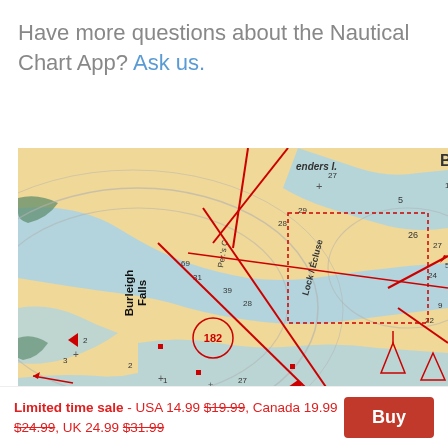Have more questions about the Nautical Chart App? Ask us.
[Figure (map): Nautical chart showing Burleigh Falls area with waterways, depth markings, lock/écluse indicator, red navigation lines and markers on a beige/blue water background.]
Limited time sale - USA 14.99 $19.99, Canada 19.99 $24.99, UK 24.99 $31.99